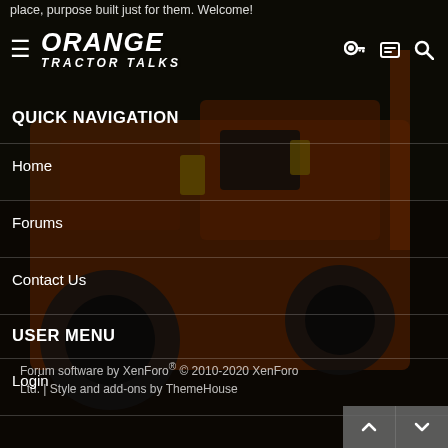[Figure (screenshot): Orange Tractor Talks website navigation menu overlay on top of a photo of an orange Kubota tractor. Dark semi-transparent overlay covers the tractor image background.]
place, purpose built just for them. Welcome!
ORANGE TRACTOR TALKS
QUICK NAVIGATION
Home
Forums
Contact Us
USER MENU
Login
Forum software by XenForo® © 2010-2020 XenForo Ltd. | Style and add-ons by ThemeHouse